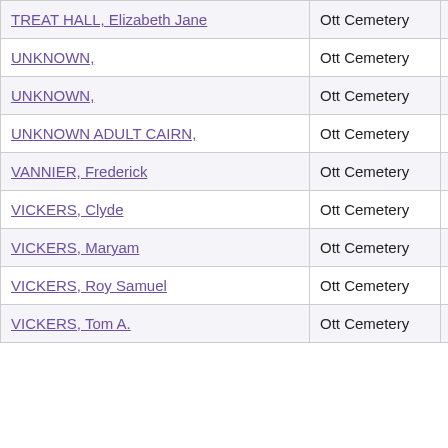| Name | Cemetery | County |
| --- | --- | --- |
| TREAT HALL, Elizabeth Jane | Ott Cemetery | Marion |
| UNKNOWN, | Ott Cemetery | Marion |
| UNKNOWN, | Ott Cemetery | Marion |
| UNKNOWN ADULT CAIRN, | Ott Cemetery | Marion |
| VANNIER, Frederick | Ott Cemetery | Marion |
| VICKERS, Clyde | Ott Cemetery | Marion |
| VICKERS, Maryam | Ott Cemetery | Marion |
| VICKERS, Roy Samuel | Ott Cemetery | Marion |
| VICKERS, Tom A. | Ott Cemetery | Marion |